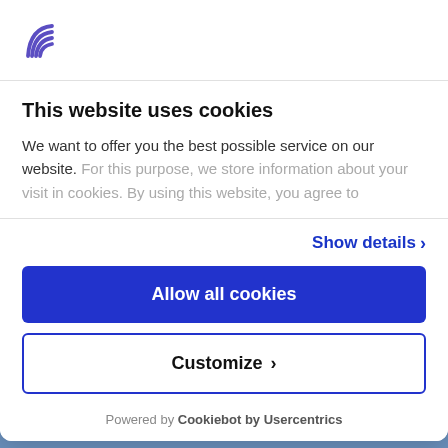[Figure (logo): Company logo with stylized arc/wave lines in indigo/purple]
This website uses cookies
We want to offer you the best possible service on our website. For this purpose, we store information about your visit in cookies. By using this website, you agree to
Show details >
Allow all cookies
Customize >
Powered by Cookiebot by Usercentrics